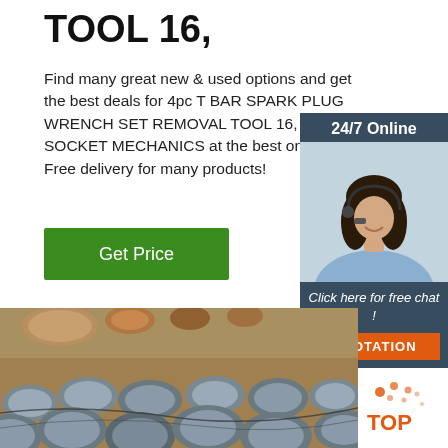TOOL 16,
Find many great new & used options and get the best deals for 4pc T BAR SPARK PLUG WRENCH SET REMOVAL TOOL 16, 18 SOCKET MECHANICS at the best online eBay! Free delivery for many products!
Get Price
[Figure (photo): Customer service operator (woman with headset) with '24/7 Online' header, 'Click here for free chat!' text and QUOTATION button]
[Figure (photo): Stack of metal rods/bars — cylindrical steel bars bundled together, industrial setting]
[Figure (logo): TOP logo with orange dot pattern]